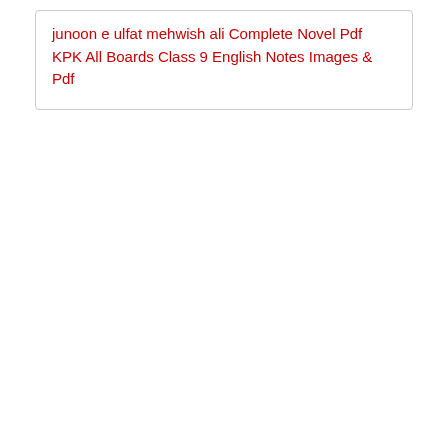junoon e ulfat mehwish ali Complete Novel Pdf
KPK All Boards Class 9 English Notes Images & Pdf